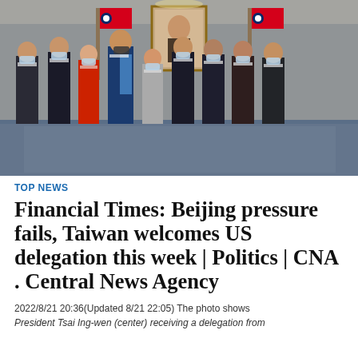[Figure (photo): Group photo of President Tsai Ing-wen (center) with a US delegation and Taiwanese officials, all wearing face masks, standing in a formal room with Taiwan flags and a portrait painting in the background.]
TOP NEWS
Financial Times: Beijing pressure fails, Taiwan welcomes US delegation this week | Politics | CNA . Central News Agency
2022/8/21 20:36(Updated 8/21 22:05) The photo shows President Tsai Ing-wen (center) receiving a delegation from